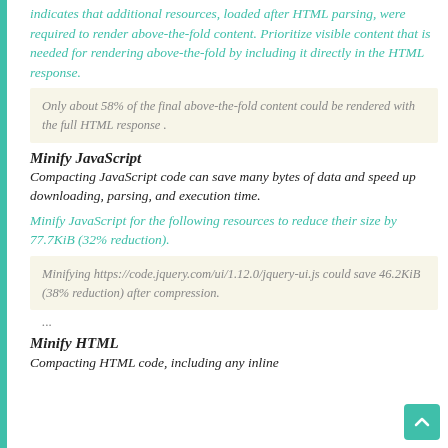indicates that additional resources, loaded after HTML parsing, were required to render above-the-fold content. Prioritize visible content that is needed for rendering above-the-fold by including it directly in the HTML response.
Only about 58% of the final above-the-fold content could be rendered with the full HTML response .
Minify JavaScript
Compacting JavaScript code can save many bytes of data and speed up downloading, parsing, and execution time.
Minify JavaScript for the following resources to reduce their size by 77.7KiB (32% reduction).
Minifying https://code.jquery.com/ui/1.12.0/jquery-ui.js could save 46.2KiB (38% reduction) after compression.
...
Minify HTML
Compacting HTML code, including any inline